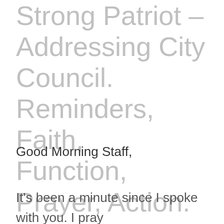Strong Patriot – Addressing City Council. Reminders, Faith, Function, Prayer, Action. We are American, IN GOD WE TRUST!
Good Morning Staff,
It's been a minute since I spoke with you.  I pray you are all well and had a great Thanksgiving, we